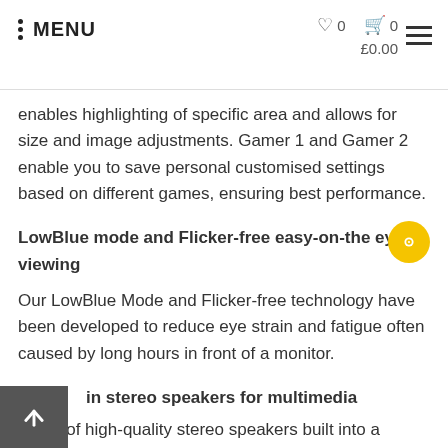MENU   ♡ 0   🛒 0   £0.00
enables highlighting of specific area and allows for size and image adjustments. Gamer 1 and Gamer 2 enable you to save personal customised settings based on different games, ensuring best performance.
LowBlue mode and Flicker-free easy-on-the eyes viewing
Our LowBlue Mode and Flicker-free technology have been developed to reduce eye strain and fatigue often caused by long hours in front of a monitor.
Built-in stereo speakers for multimedia
A pair of high-quality stereo speakers built into a